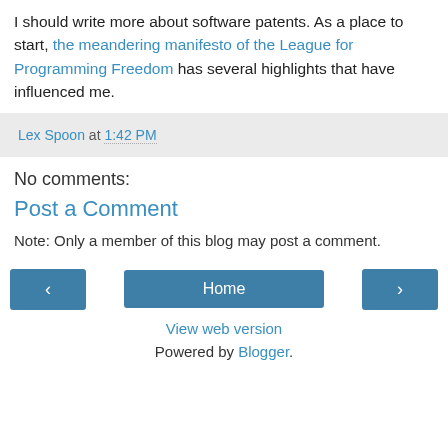I should write more about software patents. As a place to start, the meandering manifesto of the League for Programming Freedom has several highlights that have influenced me.
Lex Spoon at 1:42 PM
No comments:
Post a Comment
Note: Only a member of this blog may post a comment.
‹  Home  ›
View web version
Powered by Blogger.